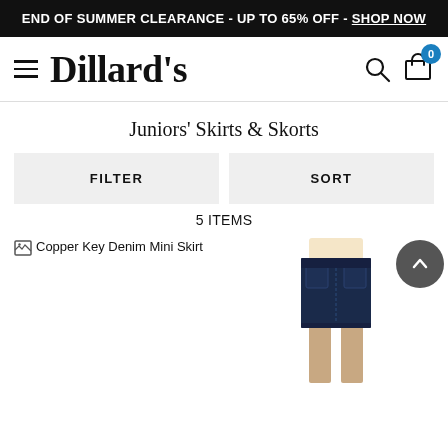END OF SUMMER CLEARANCE - UP TO 65% OFF - SHOP NOW
[Figure (logo): Dillard's logo with hamburger menu icon, search icon, and shopping bag with badge '0']
Juniors' Skirts & Skorts
FILTER
SORT
5 ITEMS
[Figure (photo): Broken image placeholder with alt text 'Copper Key Denim Mini Skirt' on the left, and a photo of a model wearing a dark denim mini skirt with front patch pockets on the right]